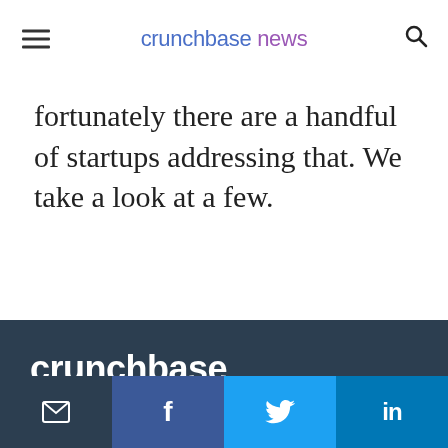crunchbase news
fortunately there are a handful of startups addressing that. We take a look at a few.
[Figure (logo): crunchbase logo in white text on dark background]
Editorial Partners: Verizon Media Tech
About Crunchbase News
[Figure (infographic): Social media share bar with email, Facebook, Twitter, LinkedIn icons]